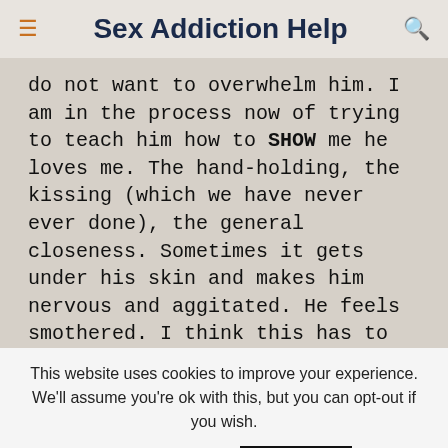Sex Addiction Help
do not want to overwhelm him. I am in the process now of trying to teach him how to SHOW me he loves me. The hand-holding, the kissing (which we have never ever done), the general closeness. Sometimes it gets under his skin and makes him nervous and aggitated. He feels smothered. I think this has to do with never having been loved. The women before me were with
This website uses cookies to improve your experience. We'll assume you're ok with this, but you can opt-out if you wish.
Cookie settings   ACCEPT